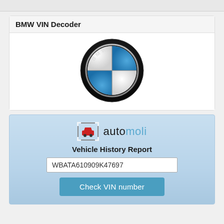BMW VIN Decoder
[Figure (logo): BMW circular logo with blue and white quadrants and black outer ring with BMW lettering]
[Figure (logo): Automoli logo with car icon in square brackets and automoli text in dark and blue colors]
Vehicle History Report
WBATA610909K47697
Check VIN number